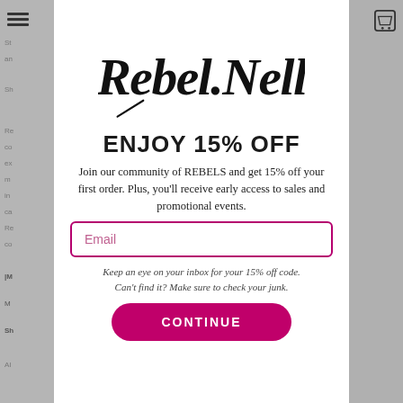[Figure (logo): Rebel Nell handwritten logo in black brush script]
ENJOY 15% OFF
Join our community of REBELS and get 15% off your first order. Plus, you'll receive early access to sales and promotional events.
Email
Keep an eye on your inbox for your 15% off code. Can't find it? Make sure to check your junk.
CONTINUE